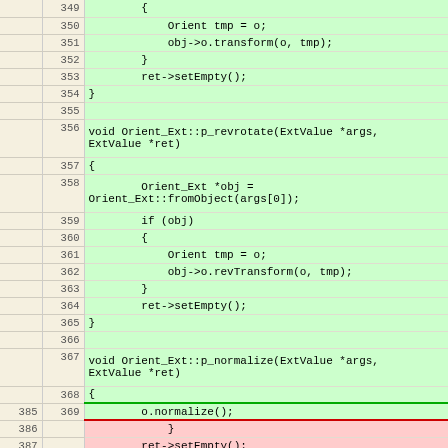Code diff view showing lines 349-393 of a C++ source file with two highlighted regions: green (added/unchanged) and red (modified/removed). Contains implementations of Orient_Ext::p_revrotate, Orient_Ext::p_normalize, and Orient_Ext::p_betweenOV methods.